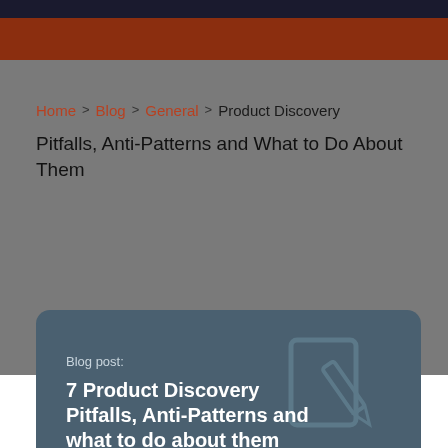Home > Blog > General > Product Discovery Pitfalls, Anti-Patterns and What to Do About Them
Product Discovery Pitfalls, Anti-Patterns and What to Do About Them
[Figure (illustration): Blog post card with dark blue-gray background, pencil/edit icon watermark, label 'Blog post:' and title '7 Product Discovery Pitfalls, Anti-Patterns and what to do about them']
Blog post:
7 Product Discovery Pitfalls, Anti-Patterns and what to do about them